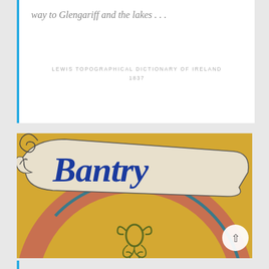way to Glengariff and the lakes . . .
LEWIS TOPOGRAPHICAL DICTIONARY OF IRELAND
1837
[Figure (photo): Close-up photograph of a decorative mural/sign with the word 'Bantry' painted in ornate blue Gothic/blackletter script on a cream/white ribbon banner, set against a colourful background of yellow, salmon-pink, and teal circular arc shapes with Celtic-style decorative motifs in olive green at the bottom.]